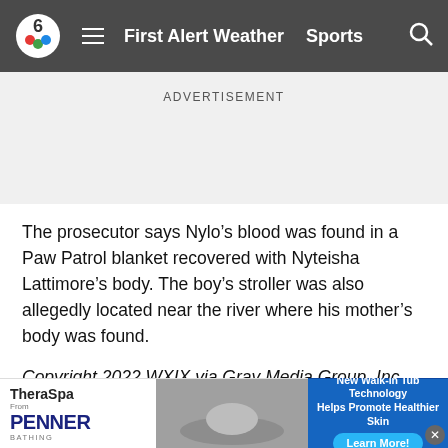6 NBC | First Alert Weather  Sports
ADVERTISEMENT
The prosecutor says Nylo’s blood was found in a Paw Patrol blanket recovered with Nyteisha Lattimore’s body. The boy’s stroller was also allegedly located near the river where his mother’s body was found.
Copyright 2022 WXIX via Gray Media Group, Inc. All rights reserved.
Taboola Feed
[Figure (screenshot): Bottom advertisement banner: TheraSpa from Penner Bathing on left, person in tub in center, blue background with 'New Walk-in Tub Technology Helps Promote Healthier Skin Learn More!' on right, close button in corner]